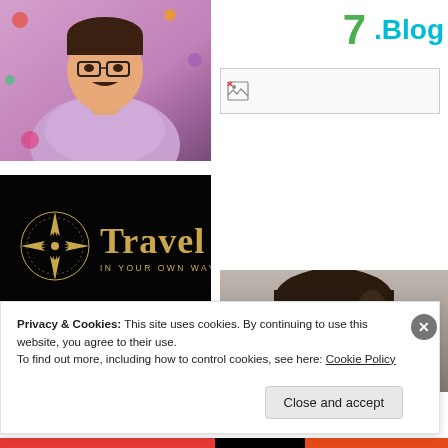[Figure (photo): Man with glasses wearing a light purple/lavender shirt, standing in front of colorful decorations]
7 .Blog
[Figure (illustration): Broken/missing image placeholder with small icon]
[Figure (logo): Travel in your own way! logo on black background with golden compass rose and golden serif text]
[Figure (photo): Woman with dark hair, partial view, gray background]
Privacy & Cookies: This site uses cookies. By continuing to use this website, you agree to their use.
To find out more, including how to control cookies, see here: Cookie Policy
Close and accept